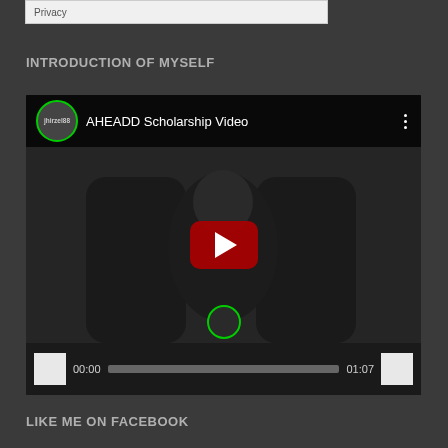[Figure (screenshot): Top partial screenshot of a webpage with white/light bar showing Privacy text]
INTRODUCTION OF MYSELF
[Figure (screenshot): Embedded YouTube video player showing AHEADD Scholarship Video by jhirzel88. Video is paused at 00:00, total duration 01:07. Red play button in center. Video shows a person seated in dark surroundings.]
LIKE ME ON FACEBOOK